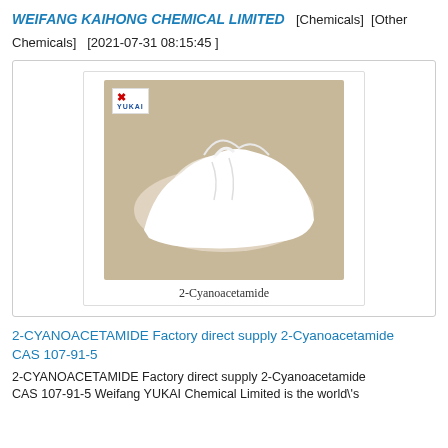WEIFANG KAIHONG CHEMICAL LIMITED  [Chemicals]  [Other Chemicals]  [2021-07-31 08:15:45 ]
[Figure (photo): Photo of white powder (2-Cyanoacetamide) on a tan/beige background with YUKAI logo in top left corner. Caption below reads '2-Cyanoacetamide'.]
2-Cyanoacetamide
2-CYANOACETAMIDE Factory direct supply 2-Cyanoacetamide CAS 107-91-5
2-CYANOACETAMIDE Factory direct supply 2-Cyanoacetamide CAS 107-91-5 Weifang YUKAI Chemical Limited is the world\'s